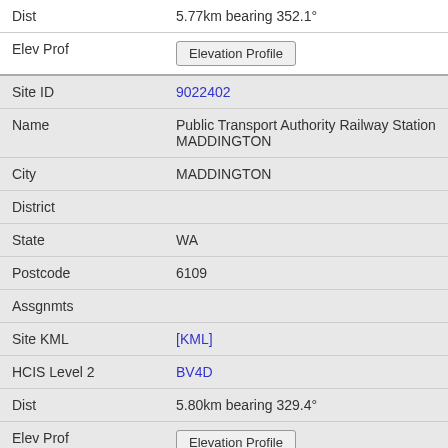| Dist | 5.77km bearing 352.1° |
| Elev Prof | [Elevation Profile button] |
| Site ID | 9022402 |
| Name | Public Transport Authority Railway Station MADDINGTON |
| City | MADDINGTON |
| District |  |
| State | WA |
| Postcode | 6109 |
| Assgnmts |  |
| Site KML | [KML] |
| HCIS Level 2 | BV4D |
| Dist | 5.80km bearing 329.4° |
| Elev Prof | [Elevation Profile button] |
| Site ID | 50793 |
| Name | Telstra/Optus Site Lot 93 Holden Rd ROLEYSTONE |